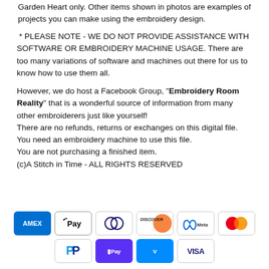Garden Heart only. Other items shown in photos are examples of projects you can make using the embroidery design.
* PLEASE NOTE - WE DO NOT PROVIDE ASSISTANCE WITH SOFTWARE OR EMBROIDERY MACHINE USAGE. There are too many variations of software and machines out there for us to know how to use them all.
However, we do host a Facebook Group, "Embroidery Room Reality" that is a wonderful source of information from many other embroiderers just like yourself! There are no refunds, returns or exchanges on this digital file. You need an embroidery machine to use this file. You are not purchasing a finished item. (c)A Stitch in Time - ALL RIGHTS RESERVED
[Figure (infographic): Payment method icons: American Express (blue), Apple Pay (white/black border), Diners Club (white/gray), Discover (white/orange), Meta (white), Mastercard (white/red-orange circles), PayPal (white), AfterPay (purple), Venmo (blue), Visa (white)]